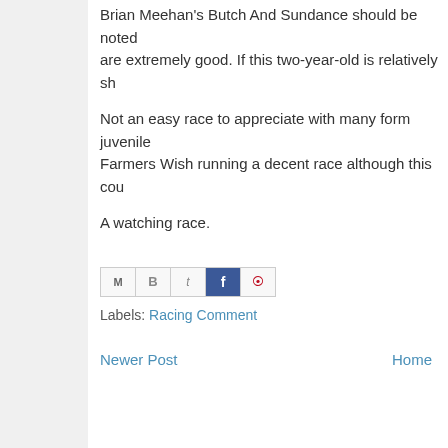Brian Meehan's Butch And Sundance should be noted as are extremely good. If this two-year-old is relatively sh
Not an easy race to appreciate with many form juvenile Farmers Wish running a decent race although this cou
A watching race.
[Figure (infographic): Social sharing buttons: Gmail, Blogger, Twitter, Facebook, Pinterest]
Labels: Racing Comment
Newer Post    Home